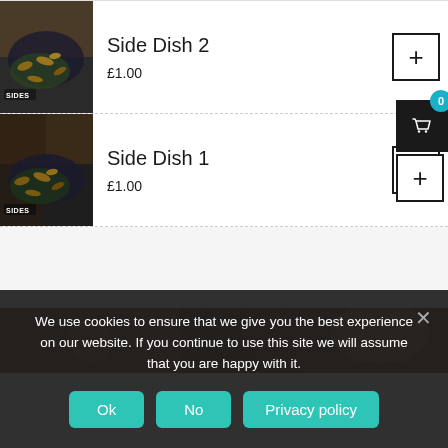[Figure (screenshot): Menu item: Side Dish 2 with food image showing bowl with label SIDES, price £1.00, and a + add button]
[Figure (screenshot): Shopping cart widget with blue badge showing 0 items]
[Figure (screenshot): Menu item: Side Dish 1 with food image showing bowl with label SIDES, price £1.00, and a + add button]
[Figure (photo): Food photograph background showing jars, sauces, and snacks on a table]
We use cookies to ensure that we give you the best experience on our website. If you continue to use this site we will assume that you are happy with it.
Ok  No  Privacy policy